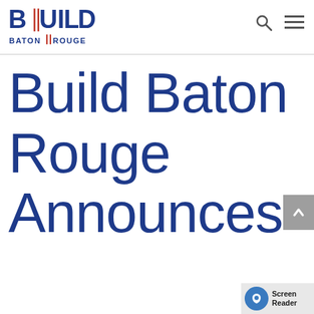[Figure (logo): Build Baton Rouge logo with stylized text and vertical red lines between letters]
Build Baton Rouge Announces